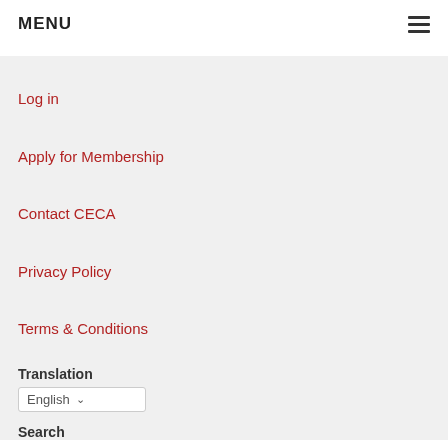MENU
Log in
Apply for Membership
Contact CECA
Privacy Policy
Terms & Conditions
Translation
English
Search